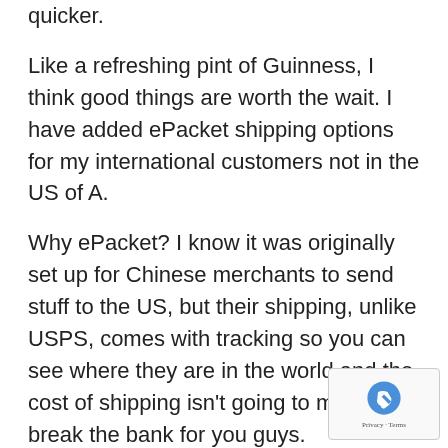quicker.
Like a refreshing pint of Guinness, I think good things are worth the wait. I have added ePacket shipping options for my international customers not in the US of A.
Why ePacket? I know it was originally set up for Chinese merchants to send stuff to the US, but their shipping, unlike USPS, comes with tracking so you can see where they are in the world and the cost of shipping isn't going to massively break the bank for you guys.
I have also added a budget shipping option with no tracking, but I have found that this can be slower in some countries, so please be aware of